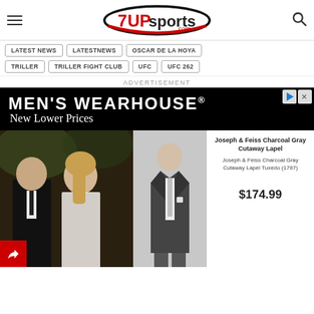7upsports.com
LATEST NEWS
LATESTNEWS
OSCAR DE LA HOYA
TRILLER
TRILLER FIGHT CLUB
UFC
UFC 262
ADVERTISEMENT
[Figure (photo): Men's Wearhouse advertisement banner with logo 'MEN'S WEARHOUSE®' and text 'New Lower Prices', showing a couple in formal wedding attire (man in dark tuxedo, woman in white dress) and a man in a charcoal gray cutaway lapel tuxedo. Product: Joseph & Feiss Charcoal Gray Cutaway Lapel Tuxedo (1787) priced at $174.99]